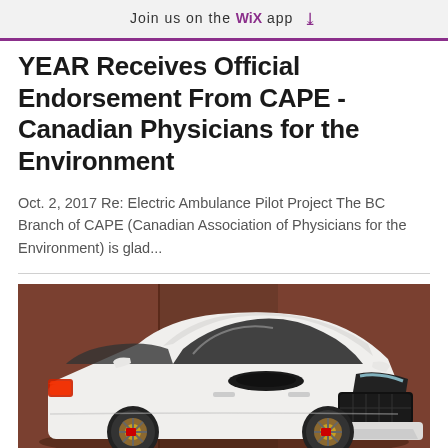Join us on the WiX app ↓
YEAR Receives Official Endorsement From CAPE - Canadian Physicians for the Environment
Oct. 2, 2017 Re: Electric Ambulance Pilot Project The BC Branch of CAPE (Canadian Association of Physicians for the Environment) is glad...
[Figure (photo): White Dodge Charger SRT sports car photographed in front of a brown wooden wall background]